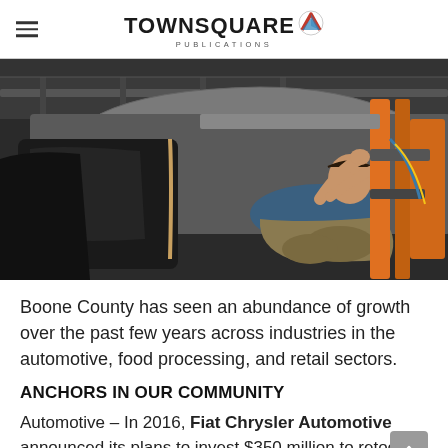TOWNSQUARE PUBLICATIONS
[Figure (photo): Automotive assembly line worker lying beneath a car door frame working on vehicle assembly, with orange industrial equipment and machinery visible in background]
Boone County has seen an abundance of growth over the past few years across industries in the automotive, food processing, and retail sectors.
ANCHORS IN OUR COMMUNITY
Automotive – In 2016, Fiat Chrysler Automotive announced its plans to invest $350 million to retool in